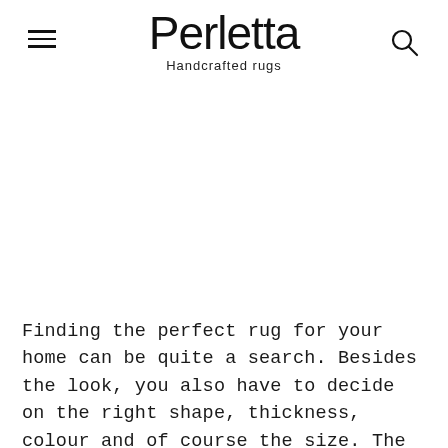Perletta — Handcrafted rugs
Finding the perfect rug for your home can be quite a search. Besides the look, you also have to decide on the right shape, thickness, colour and of course the size. The right rug in the right place can greatly enhance your space, bring the furniture together and make the room feel more spacious